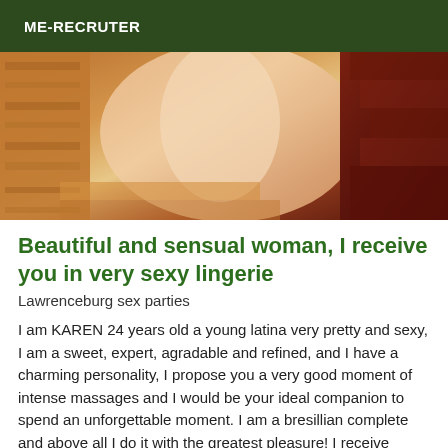ME-RECRUTER
[Figure (photo): Close-up photo of a person's skin/body against warm orange and dark red tones, heavily color-saturated]
Beautiful and sensual woman, I receive you in very sexy lingerie
Lawrenceburg sex parties
I am KAREN 24 years old a young latina very pretty and sexy, I am a sweet, expert, agradable and refined, and I have a charming personality, I propose you a very good moment of intense massages and I would be your ideal companion to spend an unforgettable moment. I am a bresillian complete and above all I do it with the greatest pleasure! I receive distinguished men in my pleasant private apartment, with all the discretion, I receive you